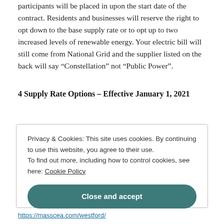participants will be placed in upon the start date of the contract. Residents and businesses will reserve the right to opt down to the base supply rate or to opt up to two increased levels of renewable energy. Your electric bill will still come from National Grid and the supplier listed on the back will say “Constellation” not “Public Power”.
4 Supply Rate Options – Effective January 1, 2021
Privacy & Cookies: This site uses cookies. By continuing to use this website, you agree to their use.
To find out more, including how to control cookies, see here: Cookie Policy
Close and accept
https://masscea.com/westford/